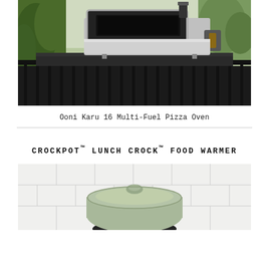[Figure (photo): Ooni Karu 16 Multi-Fuel Pizza Oven sitting on a black metal table outdoors, with greenery in the background. The oven has a stainless steel and black body with a rectangular opening.]
Ooni Karu 16 Multi-Fuel Pizza Oven
CROCKPOT™ LUNCH CROCK™ FOOD WARMER
[Figure (photo): Crockpot Lunch Crock Food Warmer in a pale green/mint color, shown against a white subway tile background.]